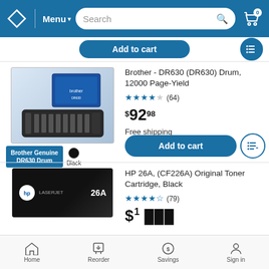Menu | Search | Cart (0)
Add to cart
[Figure (photo): Brother Genuine DR630 Drum product image with box, Black color swatch]
Brother - DR630 (DR630) Drum, 12000 Page-Yield
★★★★☆ (64)
$92.98
Free shipping
Shipping
Add to cart
[Figure (photo): HP LaserJet 26A toner cartridge product image, black box]
HP 26A, (CF226A) Original Toner Cartridge, Black
★★★★½ (79)
Home | Reorder | Savings | Sign in